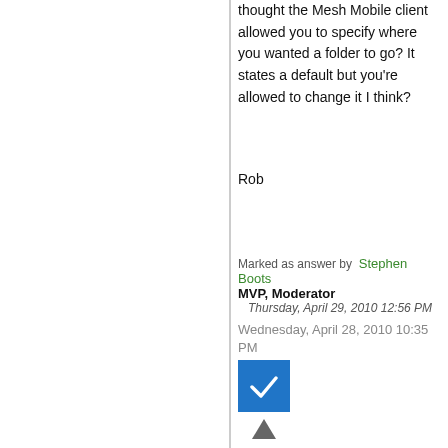thought the Mesh Mobile client allowed you to specify where you wanted a folder to go? It states a default but you're allowed to change it I think?
Rob
Marked as answer by  Stephen Boots  MVP, Moderator  Thursday, April 29, 2010 12:56 PM
Wednesday, April 28, 2010 10:35 PM
[Figure (other): Blue checkbox icon indicating marked answer]
[Figure (other): Upvote triangle arrow icon]
0
Sign in to vote